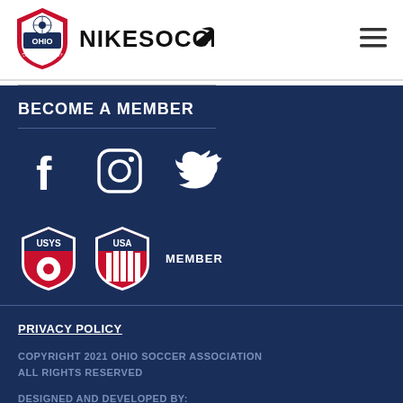[Figure (logo): Ohio Soccer Association shield logo with soccer ball and Ohio state outline]
[Figure (logo): NIKESOCCER text with Nike swoosh logo]
[Figure (illustration): Hamburger menu icon (three horizontal lines)]
BECOME A MEMBER
[Figure (illustration): Social media icons: Facebook, Instagram, Twitter]
[Figure (logo): USYS (US Youth Soccer) shield logo and USA Soccer Member badge]
PRIVACY POLICY
COPYRIGHT 2021 OHIO SOCCER ASSOCIATION ALL RIGHTS RESERVED
DESIGNED AND DEVELOPED BY: